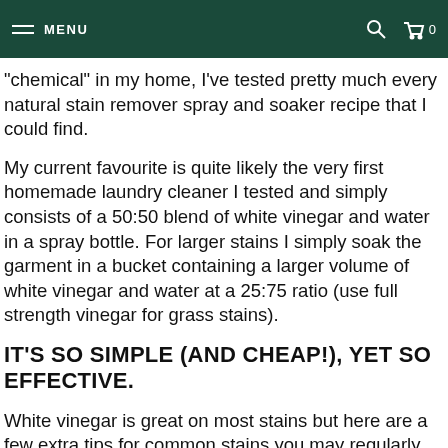MENU  0
“chemical” in my home, I’ve tested pretty much every natural stain remover spray and soaker recipe that I could find.
My current favourite is quite likely the very first homemade laundry cleaner I tested and simply consists of a 50:50 blend of white vinegar and water in a spray bottle. For larger stains I simply soak the garment in a bucket containing a larger volume of white vinegar and water at a 25:75 ratio (use full strength vinegar for grass stains).
IT’S SO SIMPLE (AND CHEAP!), YET SO EFFECTIVE.
White vinegar is great on most stains but here are a few extra tips for common stains you may regularly encounter: